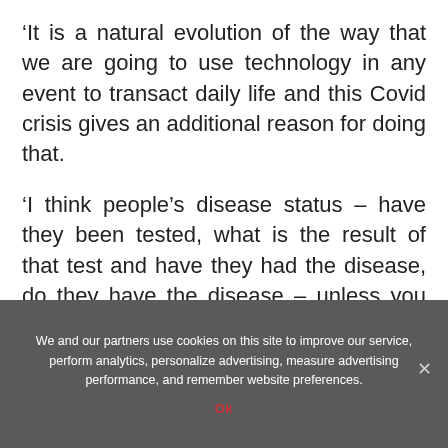‘It is a natural evolution of the way that we are going to use technology in any event to transact daily life and this Covid crisis gives an additional reason for doing that.
‘I think people’s disease status – have they been tested, what is the result of that test and have they had the disease, do they have the disease – unless you are able to record some of this data in a way people
We and our partners use cookies on this site to improve our service, perform analytics, personalize advertising, measure advertising performance, and remember website preferences. Ok